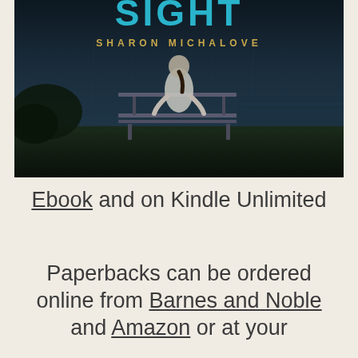[Figure (illustration): Book cover for a novel by Sharon Michalove. Shows a person sitting alone on a bench in a dark, moody outdoor scene. Teal/cyan title text at top (partially cropped), author name in gold lettering 'SHARON MICHALOVE'.]
Ebook and on Kindle Unlimited
Paperbacks can be ordered online from Barnes and Noble and Amazon or at your